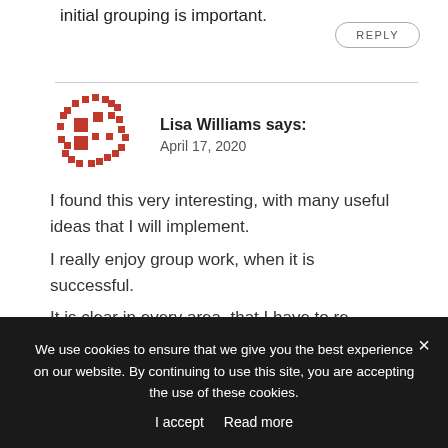initial grouping is important.
REPLY
[Figure (illustration): Orange pixelated avatar icon for user Lisa Williams]
Lisa Williams says:
April 17, 2020
I found this very interesting, with many useful ideas that I will implement.
I really enjoy group work, when it is successful.
It is clear in every area, that I have to re evaluate my methods. I am really looking forward to the
We use cookies to ensure that we give you the best experience on our website. By continuing to use this site, you are accepting the use of these cookies.
I accept  Read more